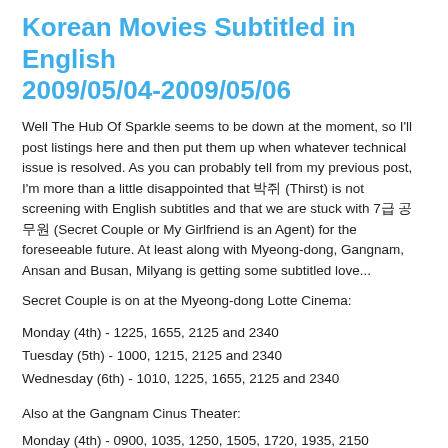Korean Movies Subtitled in English 2009/05/04-2009/05/06
Well The Hub Of Sparkle seems to be down at the moment, so I'll post listings here and then put them up when whatever technical issue is resolved. As you can probably tell from my previous post, I'm more than a little disappointed that 박쥐 (Thirst) is not screening with English subtitles and that we are stuck with 7급 공무원 (Secret Couple or My Girlfriend is an Agent) for the foreseeable future. At least along with Myeong-dong, Gangnam, Ansan and Busan, Milyang is getting some subtitled love...
Secret Couple is on at the Myeong-dong Lotte Cinema:
Monday (4th) - 1225, 1655, 2125 and 2340
Tuesday (5th) - 1000, 1215, 2125 and 2340
Wednesday (6th) - 1010, 1225, 1655, 2125 and 2340
Also at the Gangnam Cinus Theater:
Monday (4th) - 0900, 1035, 1250, 1505, 1720, 1935, 2150